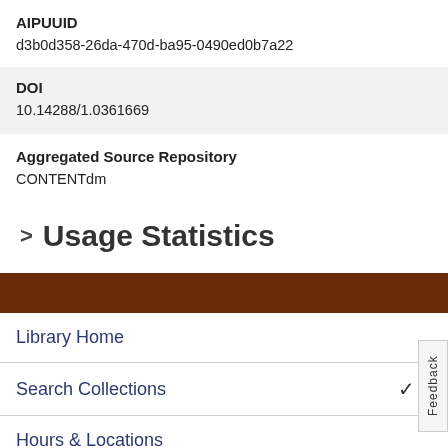AIPUUID
d3b0d358-26da-470d-ba95-0490ed0b7a22
DOI
10.14288/1.0361669
Aggregated Source Repository
CONTENTdm
> Usage Statistics
Library Home
Search Collections
Hours & Locations
Use The Library